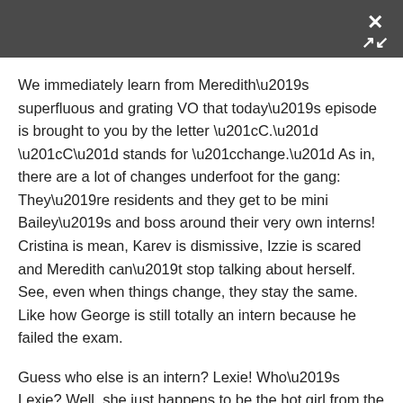We immediately learn from Meredith’s superfluous and grating VO that today’s episode is brought to you by the letter “C.” “C” stands for “change.” As in, there are a lot of changes underfoot for the gang: They’re residents and they get to be mini Bailey’s and boss around their very own interns! Cristina is mean, Karev is dismissive, Izzie is scared and Meredith can’t stop talking about herself. See, even when things change, they stay the same. Like how George is still totally an intern because he failed the exam.
Guess who else is an intern? Lexie! Who’s Lexie? Well, she just happens to be the hot girl from the bar who hit on Derek in the season finale. Also, Meredith’s